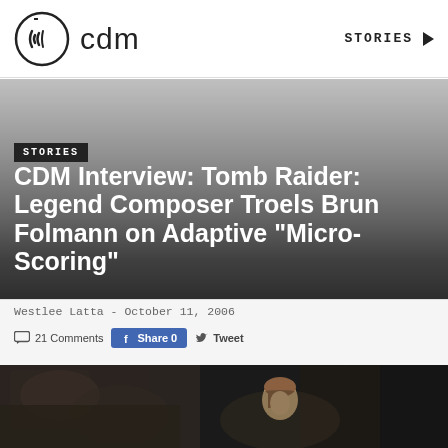cdm — STORIES
STORIES
CDM Interview: Tomb Raider: Legend Composer Troels Brun Folmann on Adaptive “Micro-Scoring”
Westlee Latta - October 11, 2006
21 Comments  Share 0  Tweet
[Figure (photo): Tomb Raider: Legend in-game screenshot showing Lara Croft character in a dark cave environment]